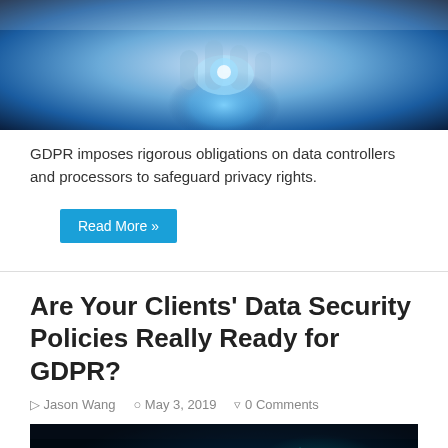[Figure (photo): Close-up photo of hands touching a glowing blue digital interface or tablet, technology/data security themed image with blue light effects]
GDPR imposes rigorous obligations on data controllers and processors to safeguard privacy rights.
Read More »
Are Your Clients' Data Security Policies Really Ready for GDPR?
Jason Wang   May 3, 2019   0 Comments
[Figure (photo): Dark photo of a person working at a computer with a glowing teal digital security shield with a lock icon overlaid, cybersecurity theme]